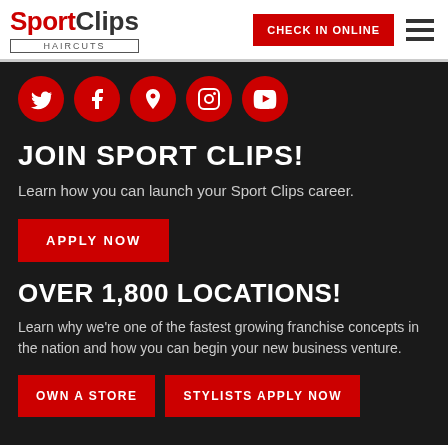Sport Clips Haircuts — CHECK IN ONLINE
[Figure (logo): Sport Clips Haircuts logo with red 'Sport' text and dark 'Clips' text, with 'HAIRCUTS' in a bordered box below]
[Figure (infographic): Five red circular social media icons: Twitter, Facebook, Google Maps, Instagram, YouTube]
JOIN SPORT CLIPS!
Learn how you can launch your Sport Clips career.
APPLY NOW
OVER 1,800 LOCATIONS!
Learn why we're one of the fastest growing franchise concepts in the nation and how you can begin your new business venture.
OWN A STORE   STYLISTS APPLY NOW